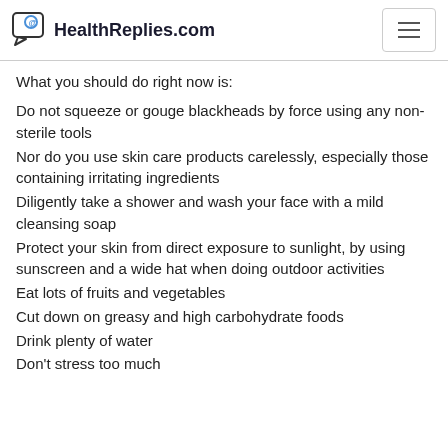HealthReplies.com
What you should do right now is:
Do not squeeze or gouge blackheads by force using any non-sterile tools
Nor do you use skin care products carelessly, especially those containing irritating ingredients
Diligently take a shower and wash your face with a mild cleansing soap
Protect your skin from direct exposure to sunlight, by using sunscreen and a wide hat when doing outdoor activities
Eat lots of fruits and vegetables
Cut down on greasy and high carbohydrate foods
Drink plenty of water
Don't stress too much